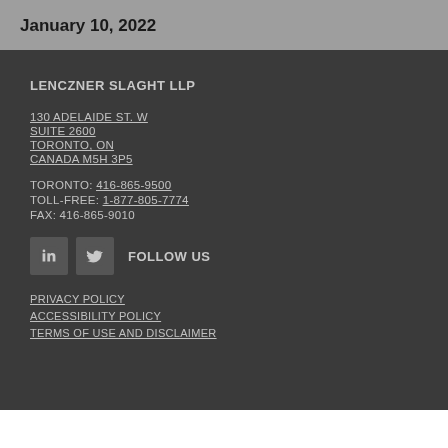January 10, 2022
LENCZNER SLAGHT LLP
130 ADELAIDE ST. W
SUITE 2600
TORONTO, ON
CANADA M5H 3P5
TORONTO: 416-865-9500
TOLL-FREE: 1-877-805-7774
FAX: 416-865-9010
[Figure (logo): LinkedIn and Twitter social media icons with text FOLLOW US]
PRIVACY POLICY
ACCESSIBILITY POLICY
TERMS OF USE AND DISCLAIMER